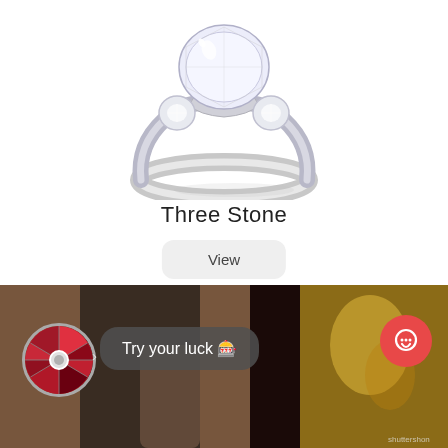[Figure (photo): A three-stone diamond engagement ring with a large center stone flanked by two smaller round diamonds on a silver/platinum band, product photo on white background]
Three Stone
View
[Figure (photo): Bottom section showing a person wearing jewelry with a spin wheel overlay, a 'Try your luck' bubble text, and a red chat button. Background shows hands with gold jewelry items.]